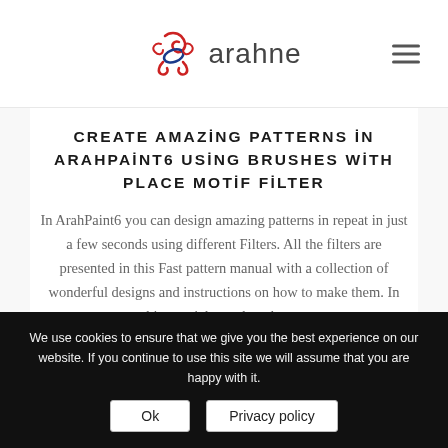arahne
CREATE AMAZING PATTERNS IN ARAHPAINT6 USING BRUSHES WITH PLACE MOTIF FILTER
In ArahPaint6 you can design amazing patterns in repeat in just a few seconds using different Filters. All the filters are presented in this Fast pattern manual with a collection of wonderful designs and instructions on how to make them. In this tutorial, we show how...
We use cookies to ensure that we give you the best experience on our website. If you continue to use this site we will assume that you are happy with it.